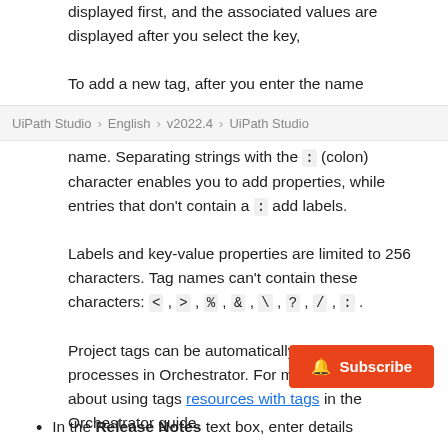displayed first, and the associated values are displayed after you select the key,
UiPath Studio > English > v2022.4 > UiPath Studio
To add a new tag, after you enter the name. Separating strings with the : (colon) character enables you to add properties, while entries that don't contain a : add labels.
Labels and key-value properties are limited to 256 characters. Tag names can't contain these characters: < , > , % , & , \ , ? , / , : .
Project tags can be automatically applied to processes in Orchestrator. For more information about using tags resources with tags in the Orchestrator guide.
In the Release Notes text box, enter details